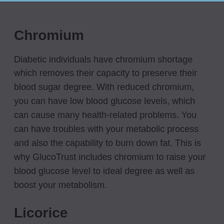Chromium
Diabetic individuals have chromium shortage which removes their capacity to preserve their blood sugar degree. With reduced chromium, you can have low blood glucose levels, which can cause many health-related problems. You can have troubles with your metabolic process and also the capability to burn down fat. This is why GlucoTrust includes chromium to raise your blood glucose level to ideal degree as well as boost your metabolism.
Licorice